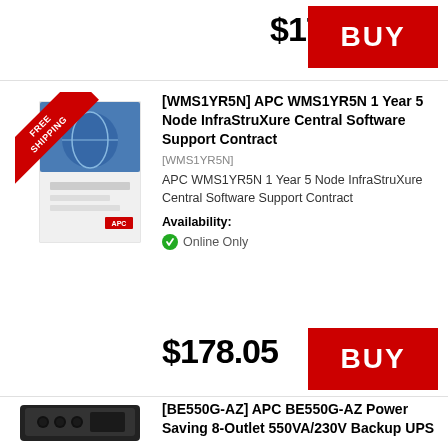$174.96
BUY
[Figure (photo): APC WMS1YR5N product box with Free Shipping ribbon]
[WMS1YR5N] APC WMS1YR5N 1 Year 5 Node InfraStruXure Central Software Support Contract
[WMS1YR5N]
APC WMS1YR5N 1 Year 5 Node InfraStruXure Central Software Support Contract
Availability:
Online Only
$178.05
BUY
[Figure (photo): APC BE550G-AZ Power Saving Backup UPS device, black]
[BE550G-AZ] APC BE550G-AZ Power Saving 8-Outlet 550VA/230V Backup UPS
[BE550G-AZ]
APC BE550G-AZ, 0.55 kVA, 330 W, 50/ 60 Hz, 310 J, 16 h, Black
Availability:
Online Only